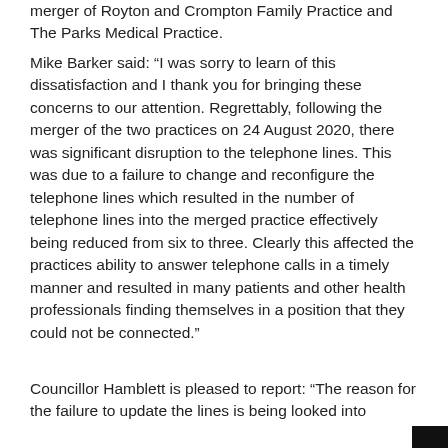merger of Royton and Crompton Family Practice and The Parks Medical Practice.
Mike Barker said: “I was sorry to learn of this dissatisfaction and I thank you for bringing these concerns to our attention. Regrettably, following the merger of the two practices on 24 August 2020, there was significant disruption to the telephone lines. This was due to a failure to change and reconfigure the telephone lines which resulted in the number of telephone lines into the merged practice effectively being reduced from six to three. Clearly this affected the practices ability to answer telephone calls in a timely manner and resulted in many patients and other health professionals finding themselves in a position that they could not be connected.”
Councillor Hamblett is pleased to report: “The reason for the failure to update the lines is being looked into